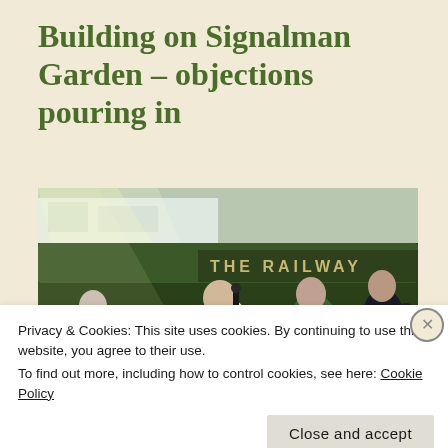Building on Signalman Garden – objections pouring in
[Figure (photo): Outdoor beer garden scene at 'The Railway' pub, with people socialising in front of a hedge, sunlight beaming through trees, building visible in background.]
Privacy & Cookies: This site uses cookies. By continuing to use this website, you agree to their use.
To find out more, including how to control cookies, see here: Cookie Policy
Close and accept